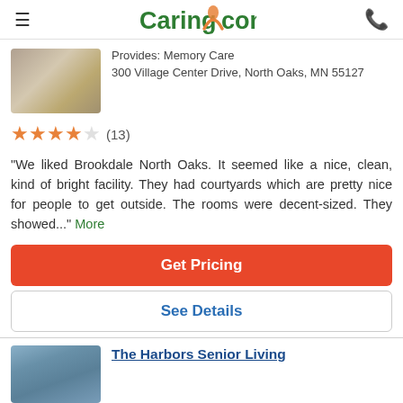Caring.com
Provides: Memory Care
300 Village Center Drive, North Oaks, MN 55127
[Figure (other): Star rating: 4 out of 5 stars with 13 reviews]
"We liked Brookdale North Oaks. It seemed like a nice, clean, kind of bright facility. They had courtyards which are pretty nice for people to get outside. The rooms were decent-sized. They showed..." More
Get Pricing
See Details
The Harbors Senior Living